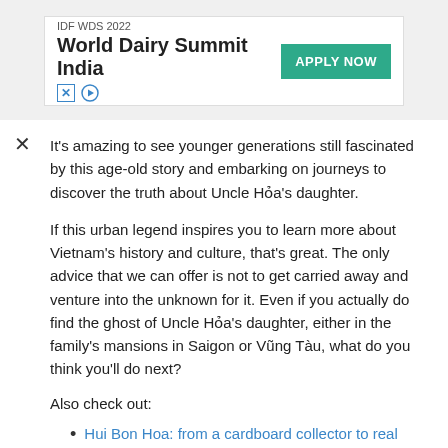[Figure (other): Advertisement banner for IDF WDS 2022 World Dairy Summit India with an 'APPLY NOW' button and close/play icons]
It's amazing to see younger generations still fascinated by this age-old story and embarking on journeys to discover the truth about Uncle Hỏa's daughter.
If this urban legend inspires you to learn more about Vietnam's history and culture, that's great. The only advice that we can offer is not to get carried away and venture into the unknown for it. Even if you actually do find the ghost of Uncle Hỏa's daughter, either in the family's mansions in Saigon or Vũng Tàu, what do you think you'll do next?
Also check out:
Hui Bon Hoa: from a cardboard collector to real estate guru